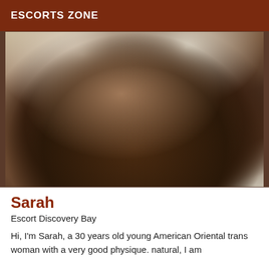ESCORTS ZONE
[Figure (photo): A person wearing a white robe, photographed from behind/side, showing their physique in a dimly lit setting.]
Sarah
Escort Discovery Bay
Hi, I'm Sarah, a 30 years old young American Oriental trans woman with a very good physique. natural, I am